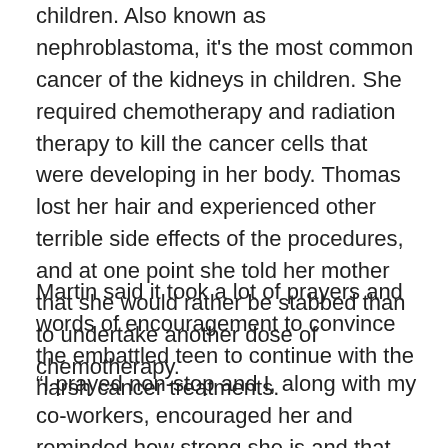children. Also known as nephroblastoma, it's the most common cancer of the kidneys in children. She required chemotherapy and radiation therapy to kill the cancer cells that were developing in her body. Thomas lost her hair and experienced other terrible side effects of the procedures, and at one point she told her mother that she would rather be stabbed than to undertake another dose of chemotherapy.
Martin said it took a lot of prayers and words of encouragement to convince the embattled teen to continue with the harsh cancer treatments.
“I prayed non-stop and I, along with my co-workers, encouraged her and reminded how strong she is and that God didn’t bring her this far to leave her. He really didn’t because I couldn’t not come up with the $1.5 million to pay for the treatment, but a lot of people helped me. There were strangers who helped by sending me their donations.